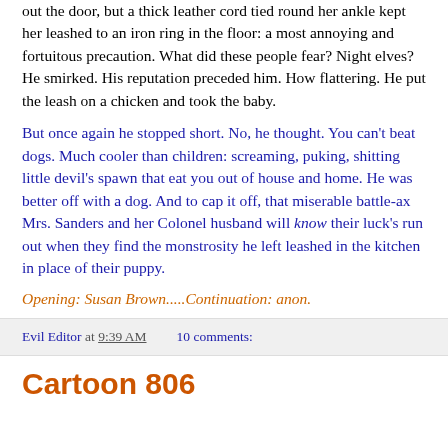out the door, but a thick leather cord tied round her ankle kept her leashed to an iron ring in the floor: a most annoying and fortuitous precaution. What did these people fear? Night elves? He smirked. His reputation preceded him. How flattering. He put the leash on a chicken and took the baby.
But once again he stopped short. No, he thought. You can't beat dogs. Much cooler than children: screaming, puking, shitting little devil's spawn that eat you out of house and home. He was better off with a dog. And to cap it off, that miserable battle-ax Mrs. Sanders and her Colonel husband will know their luck's run out when they find the monstrosity he left leashed in the kitchen in place of their puppy.
Opening: Susan Brown.....Continuation: anon.
Evil Editor at 9:39 AM   10 comments:
Cartoon 806